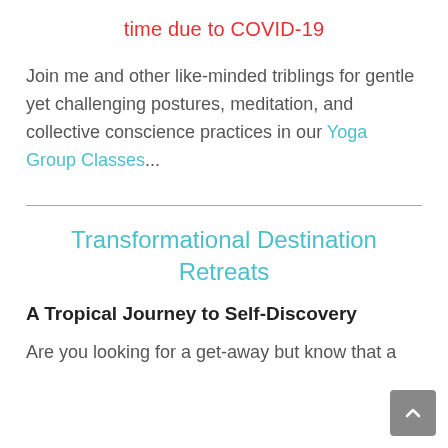time due to COVID-19
Join me and other like-minded triblings for gentle yet challenging postures, meditation, and collective conscience practices in our Yoga Group Classes...
Transformational Destination Retreats
A Tropical Journey to Self-Discovery
Are you looking for a get-away but know that a